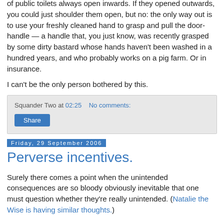of public toilets always open inwards. If they opened outwards, you could just shoulder them open, but no: the only way out is to use your freshly cleaned hand to grasp and pull the door-handle — a handle that, you just know, was recently grasped by some dirty bastard whose hands haven't been washed in a hundred years, and who probably works on a pig farm. Or in insurance.
I can't be the only person bothered by this.
Squander Two at 02:25    No comments:
Share
Friday, 29 September 2006
Perverse incentives.
Surely there comes a point when the unintended consequences are so bloody obviously inevitable that one must question whether they're really unintended. (Natalie the Wise is having similar thoughts.)